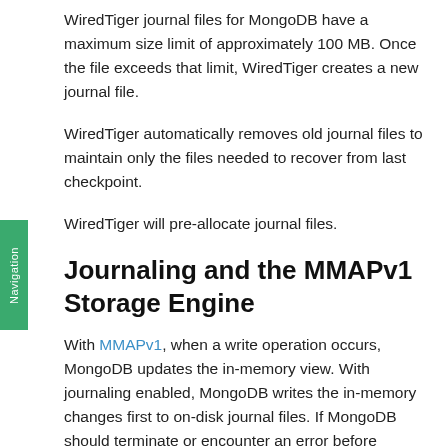WiredTiger journal files for MongoDB have a maximum size limit of approximately 100 MB. Once the file exceeds that limit, WiredTiger creates a new journal file.
WiredTiger automatically removes old journal files to maintain only the files needed to recover from last checkpoint.
WiredTiger will pre-allocate journal files.
Journaling and the MMAPv1 Storage Engine
With MMAPv1, when a write operation occurs, MongoDB updates the in-memory view. With journaling enabled, MongoDB writes the in-memory changes first to on-disk journal files. If MongoDB should terminate or encounter an error before committing the changes to the data files, MongoDB can use the journal files to apply the writes...